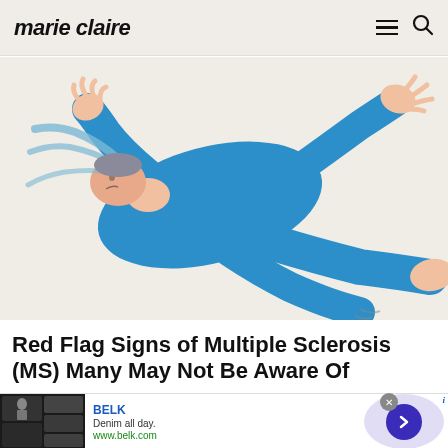marie claire
[Figure (illustration): Illustration of a person lying on their back wearing a blue outfit, with limbs raised and body contorted, suggesting muscle spasms or a seizure-like episode associated with Multiple Sclerosis symptoms. Hair flows outward, arms and legs are raised. Background is a warm beige/cream color.]
Red Flag Signs of Multiple Sclerosis (MS) Many May Not Be Aware Of
[Figure (other): Advertisement banner for BELK. Shows small product/lifestyle images on left, BELK brand name in blue, tagline 'Denim all day.' and URL 'www.belk.com'. On the right side is a purple/lavender circular element with a dark blue circle containing a right-pointing arrow chevron. A small close (x) button appears at top right of the ad.]